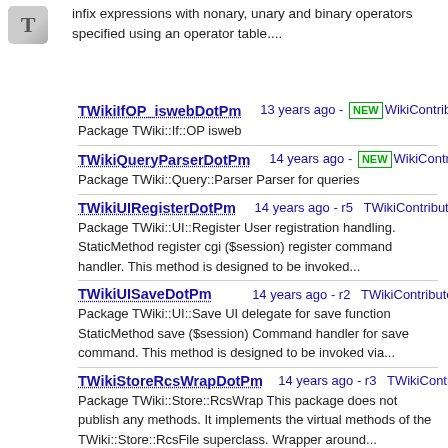infix expressions with nonary, unary and binary operators specified using an operator table....
TWikiIfOP_iswebDotPm    13 years ago - NEW WikiContribute   Package TWiki::If::OP isweb
TWikiQueryParserDotPm    14 years ago - NEW WikiContribute   Package TWiki::Query::Parser Parser for queries
TWikiUIRegisterDotPm    14 years ago - r5   TWikiContribute   Package TWiki::UI::Register User registration handling. StaticMethod register cgi ($session) register command handler. This method is designed to be invoked...
TWikiUISaveDotPm    14 years ago - r2   TWikiContribute   Package TWiki::UI::Save UI delegate for save function StaticMethod save ($session) Command handler for save command. This method is designed to be invoked via...
TWikiStoreRcsWrapDotPm    14 years ago - r3   TWikiContribute   Package TWiki::Store::RcsWrap This package does not publish any methods. It implements the virtual methods of the TWiki::Store::RcsFile superclass. Wrapper around...
TWikiQueryNodeDotPm    14 years ago - NEW WikiContribute   Package TWiki::Query A Query object is a representation of a query over the TWiki...